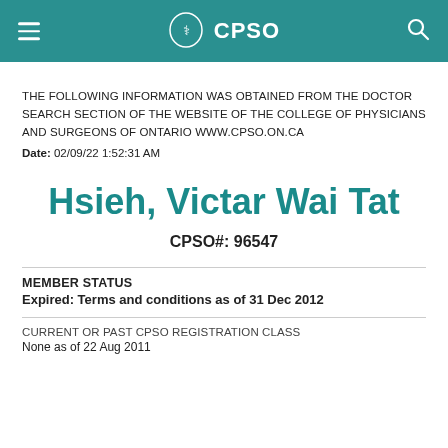CPSO
THE FOLLOWING INFORMATION WAS OBTAINED FROM THE DOCTOR SEARCH SECTION OF THE WEBSITE OF THE COLLEGE OF PHYSICIANS AND SURGEONS OF ONTARIO WWW.CPSO.ON.CA
Date: 02/09/22 1:52:31 AM
Hsieh, Victar Wai Tat
CPSO#: 96547
MEMBER STATUS
Expired: Terms and conditions as of 31 Dec 2012
CURRENT OR PAST CPSO REGISTRATION CLASS
None as of 22 Aug 2011